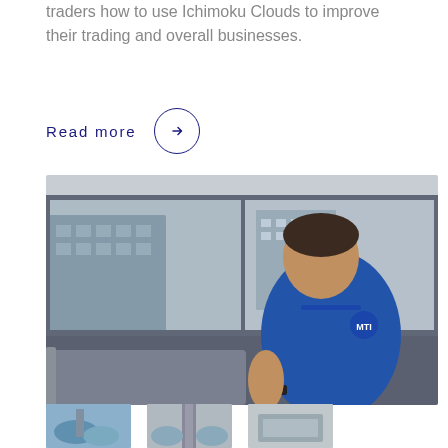traders how to use Ichimoku Clouds to improve their trading and overall businesses.
Read more →
[Figure (photo): A man in a blue polo shirt with MTI logo sitting on a grey couch on a rooftop terrace with city buildings visible behind glass panels in the background.]
[Figure (photo): Partial thumbnail images visible at the bottom of the page showing additional content.]